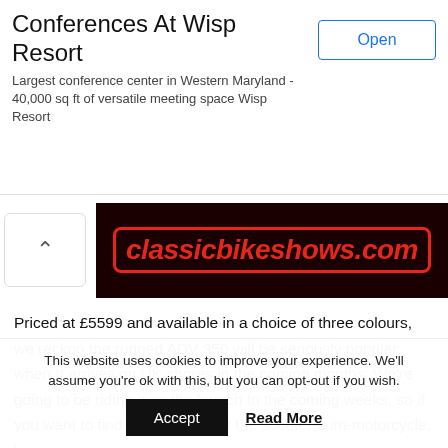[Figure (screenshot): Advertisement banner for Conferences At Wisp Resort with title, description text, and Open button]
[Figure (logo): classicbikeshows.com banner logo in red italic text on dark background with red oval border]
Priced at £5599 and available in a choice of three colours, we reckon the rugged ADV 350 will be seriously popular when It arrives on UK shores in the coming months. We're going to be riding it on the launch In the coming weeks, so if you want to find out more about the scooter-cum-motorcycle, be sure to
This website uses cookies to improve your experience. We'll assume you're ok with this, but you can opt-out if you wish.